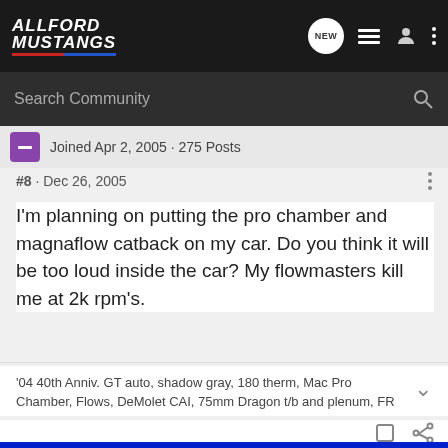ALLFORD MUSTANGS
Search Community
Joined Apr 2, 2005 · 275 Posts
#8 · Dec 26, 2005
I'm planning on putting the pro chamber and magnaflow catback on my car. Do you think it will be too loud inside the car? My flowmasters kill me at 2k rpm's.
'04 40th Anniv. GT auto, shadow gray, 180 therm, Mac Pro Chamber, Flows, DeMolet CAI, 75mm Dragon t/b and plenum, FR